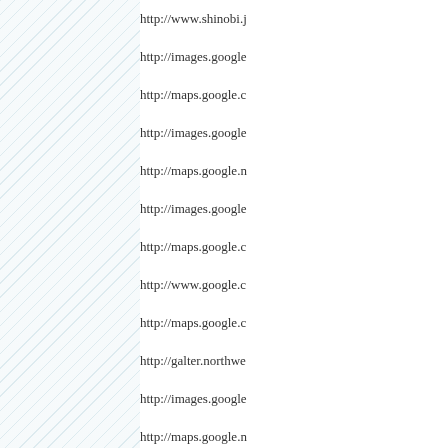http://www.shinobi.j
http://images.google
http://maps.google.c
http://images.google
http://maps.google.n
http://images.google
http://maps.google.c
http://www.google.c
http://maps.google.c
http://galter.northwe
http://images.google
http://maps.google.n